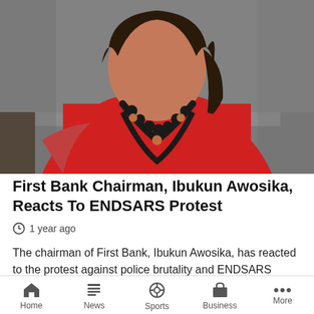[Figure (photo): A woman wearing a red top and black beaded necklace, photographed from the waist up against a grey background.]
First Bank Chairman, Ibukun Awosika, Reacts To ENDSARS Protest
1 year ago
The chairman of First Bank, Ibukun Awosika, has reacted to the protest against police brutality and ENDSARS campaign that has been ongoing for about f...